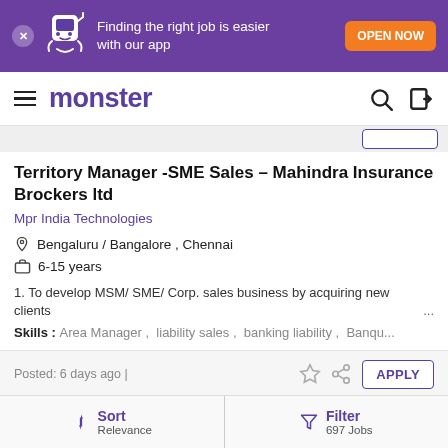Finding the right job is easier with our app | OPEN NOW
[Figure (logo): Monster job portal logo and navigation bar with hamburger menu, search and login icons]
Territory Manager -SME Sales - Mahindra Insurance Brockers ltd
Mpr India Technologies
Bengaluru / Bangalore , Chennai
6-15 years
1. To develop MSM/ SME/ Corp. sales business by acquiring new clients ...
Skills : Area Manager , liability sales , banking liability , Banqu...
Posted: 6 days ago |
Sort Relevance | Filter 697 Jobs